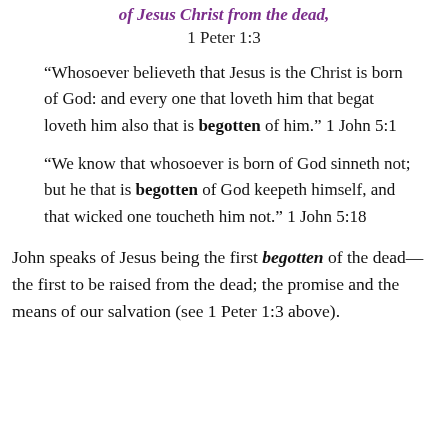of Jesus Christ from the dead,
1 Peter 1:3
“Whosoever believeth that Jesus is the Christ is born of God: and every one that loveth him that begat loveth him also that is begotten of him.” 1 John 5:1
“We know that whosoever is born of God sinneth not; but he that is begotten of God keepeth himself, and that wicked one toucheth him not.” 1 John 5:18
John speaks of Jesus being the first begotten of the dead—the first to be raised from the dead; the promise and the means of our salvation (see 1 Peter 1:3 above).